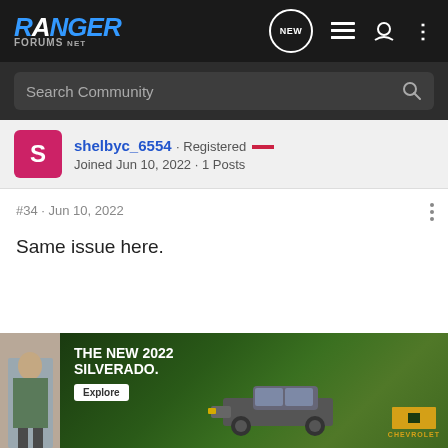RANGER FORUMS
Search Community
shelbyc_6554 · Registered
Joined Jun 10, 2022 · 1 Posts
#34 · Jun 10, 2022
Same issue here.
[Figure (screenshot): Advertisement banner for The New 2022 Silverado by Chevrolet with an Explore button, showing a truck on a green background.]